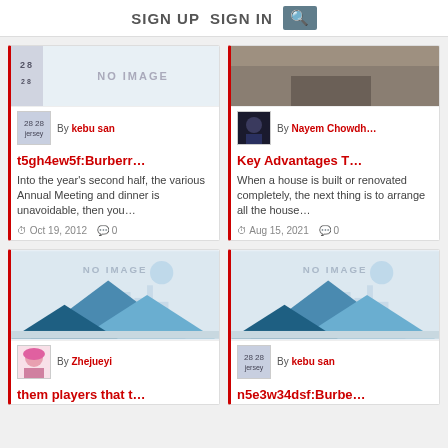SIGN UP   SIGN IN   [search]
[Figure (screenshot): Blog post card with NO IMAGE placeholder, avatar of jersey #28, by kebu san, title t5gh4ew5f:Burberr..., text about Annual Meeting, date Oct 19 2012, 0 comments]
[Figure (screenshot): Blog post card with photo of man in suit, by Nayem Chowdh..., title Key Advantages T..., text about house renovation, date Aug 15 2021, 0 comments]
[Figure (screenshot): Blog post card with mountain illustration NO IMAGE placeholder, avatar of woman with pink hair, by Zhejueyi, title them players that t...]
[Figure (screenshot): Blog post card with mountain illustration NO IMAGE placeholder, avatar of jersey #28, by kebu san, title n5e3w34dsf:Burbe...]